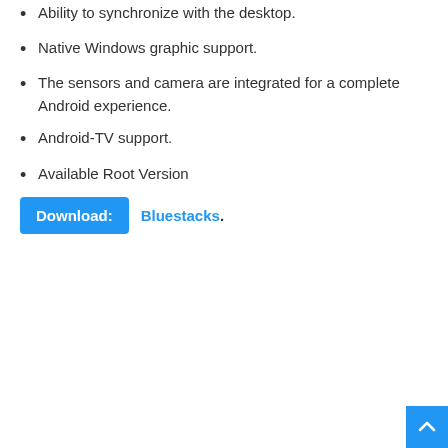Ability to synchronize with the desktop.
Native Windows graphic support.
The sensors and camera are integrated for a complete Android experience.
Android-TV support.
Available Root Version
Download: Bluestacks.